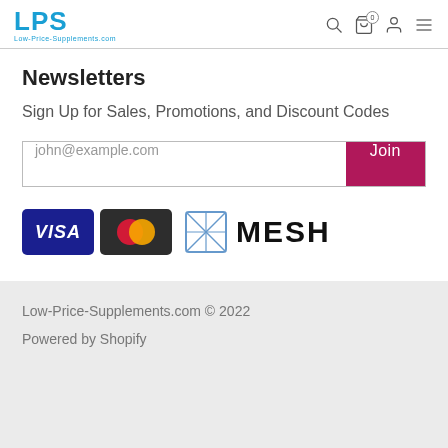LPS Low-Price-Supplements.com
Newsletters
Sign Up for Sales, Promotions, and Discount Codes
[Figure (screenshot): Email signup form with placeholder 'john@example.com' and a crimson 'Join' button]
[Figure (logo): Payment method logos: Visa, Mastercard, and MESH]
Low-Price-Supplements.com © 2022
Powered by Shopify